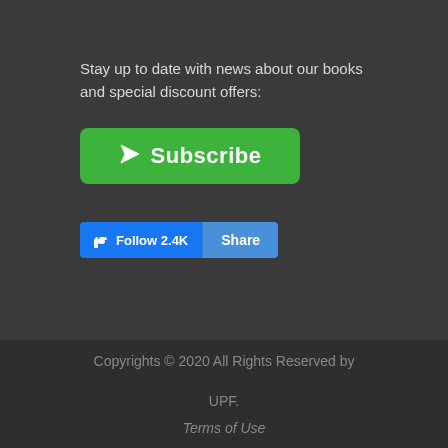Stay up to date with news about our books and special discount offers:
[Figure (other): Green Subscribe button with paper plane icon]
[Figure (other): Facebook Follow 2.4K and Share buttons]
Copyrights © 2020 All Rights Reserved by UPF.